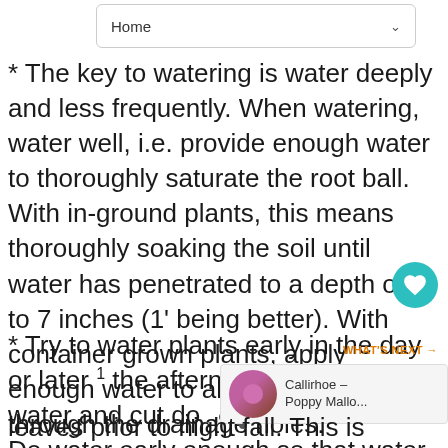Home
* The key to watering is water deeply and less frequently. When watering, water well, i.e. provide enough water to thoroughly saturate the root ball. With in-ground plants, this means thoroughly soaking the soil until water has penetrated to a depth of 6 to 7 inches (1' being better). With container grown plants, apply enough water to allow water to flow through the drainage holes.
* Try to water plants early in the day or later the afternoon to conserve water and cut do on plant stress. Do water early enough so that water has had a chance to dry from leaves prior to night fall. This is paramount if